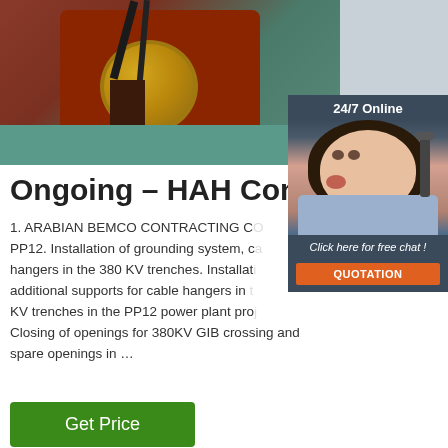[Figure (photo): Industrial cable drum/reel with black cables and gold/bronze ring fitting, mounted on red structure, teal floor background]
[Figure (infographic): 24/7 Online chat widget with female customer service agent wearing headset, with 'Click here for free chat!' text and orange QUOTATION button]
Ongoing – HAH Contracting
1. ARABIAN BEMCO CONTRACTING CO. PP12. Installation of grounding system, cable hangers in the 380 KV trenches. Installation of additional supports for cable hangers in the 380 KV trenches in the PP12 power plant project. Closing of openings for 380KV GIB crossing and spare openings in ...
Get Price